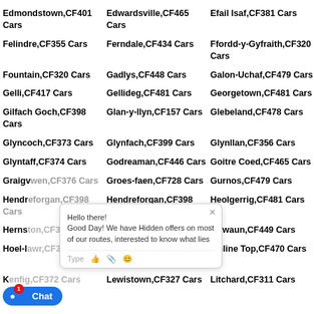Edmondstown,CF401 Cars
Edwardsville,CF465 Cars
Efail Isaf,CF381 Cars
Felindre,CF355 Cars
Ferndale,CF434 Cars
Ffordd-y-Gyfraith,CF320 Cars
Fountain,CF320 Cars
Gadlys,CF448 Cars
Galon-Uchaf,CF479 Cars
Gelli,CF417 Cars
Gellideg,CF481 Cars
Georgetown,CF481 Cars
Gilfach Goch,CF398 Cars
Glan-y-llyn,CF157 Cars
Glebeland,CF478 Cars
Glyncoch,CF373 Cars
Glynfach,CF399 Cars
Glynllan,CF356 Cars
Glyntaff,CF374 Cars
Godreaman,CF446 Cars
Goitre Coed,CF465 Cars
Graigwen,CF376 Cars
Groes-faen,CF728 Cars
Gurnos,CF479 Cars
Hendreforgan,CF398 Cars
Heolgerrig,CF481 Cars
Henrhyd,CF398 Cars
Heronston,CF313 Cars
Hirwaun,CF449 Cars
Hoel-lawr,CF372 Cars
Hopkinstown,CF372 Cars
Incline Top,CF470 Cars
Kenfig,CF372 Cars
Lewistown,CF327 Cars
Litchard,CF311 Cars
Llechryd,CF358 Cars